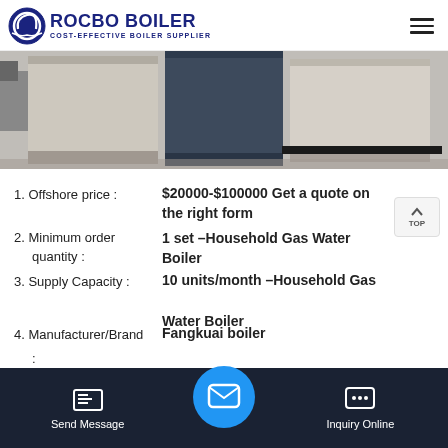ROCBO BOILER - COST-EFFECTIVE BOILER SUPPLIER
[Figure (photo): Industrial boiler units photograph showing multiple boiler equipment in grey and dark blue colors]
1. Offshore price : $20000-$100000 Get a quote on the right form
2. Minimum order quantity : 1 set –Household Gas Water Boiler
3. Supply Capacity : 10 units/month –Household Gas Water Boiler
4. Manufacturer/Brand : Fangkuai boiler
5. Port : Anya...